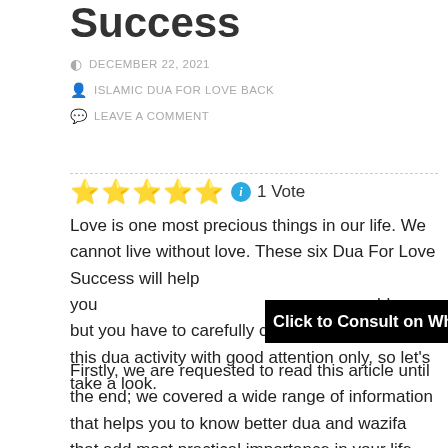Success
DECEMBER 22, 2021
ISLAMIC DUA FOR LOVE BACK
LEAVE A COMMENT
⭐⭐⭐⭐⭐ ℹ 1 Vote
Love is one most precious things in our life. We cannot live without love. These six Dua For Love Success will help you [Click to Consult on Whatsapp] problems, but you have to carefully choose and perform this dua activity with good attention only, so let's take a look.
Firstly, we are requested to read this article until the end; we covered a wide range of information that helps you to know better dua and wazifa that add most practical importance in your life.